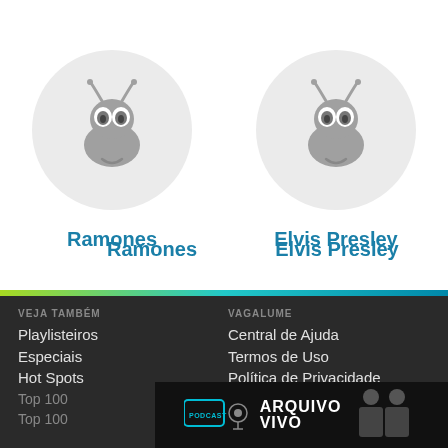[Figure (illustration): Two circular artist avatar icons side by side on white background — Ramones (left) and Elvis Presley (right), each showing a grey ant/bug mascot logo on a light grey circle]
Ramones
Elvis Presley
VEJA TAMBÉM
Playlisteiros
Especiais
Hot Spots
Top 100
Top 100
VAGALUME
Central de Ajuda
Termos de Uso
Política de Privacidade
[Figure (screenshot): Advertisement banner for 'Arquivo Vivo' podcast — dark background with PODCAST badge in teal, bold white text ARQUIVO VIVO, and two men in suits]